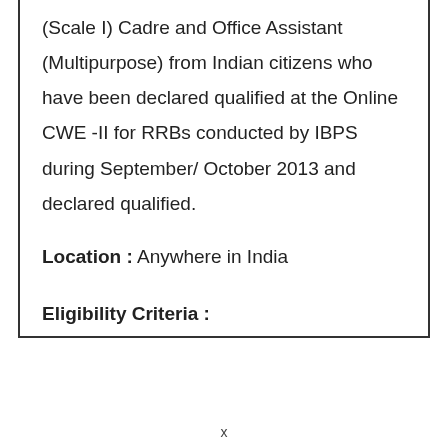(Scale I) Cadre and Office Assistant (Multipurpose) from Indian citizens who have been declared qualified at the Online CWE -II for RRBs conducted by IBPS during September/ October 2013 and declared qualified.
Location : Anywhere in India
Eligibility Criteria :
x